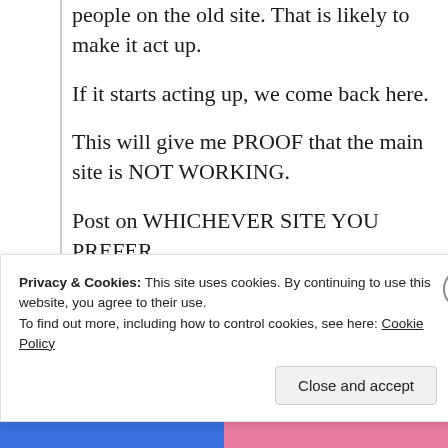people on the old site. That is likely to make it act up.
If it starts acting up, we come back here.
This will give me PROOF that the main site is NOT WORKING.
Post on WHICHEVER SITE YOU PREFER.
Thank you.
W
Privacy & Cookies: This site uses cookies. By continuing to use this website, you agree to their use.
To find out more, including how to control cookies, see here: Cookie Policy
Close and accept